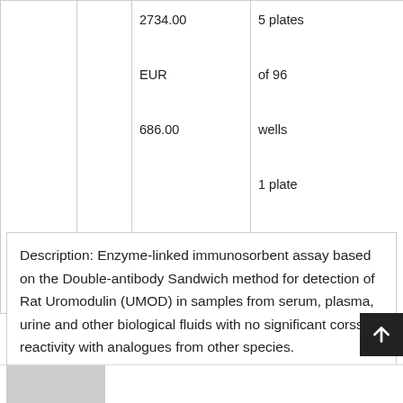|  |  | 2734.00
EUR
686.00 | 5 plates
of 96
wells
1 plate
of 96
wells |
Description: Enzyme-linked immunosorbent assay based on the Double-antibody Sandwich method for detection of Rat Uromodulin (UMOD) in samples from serum, plasma, urine and other biological fluids with no significant corss-reactivity with analogues from other species.